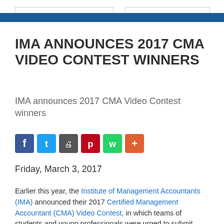IMA ANNOUNCES 2017 CMA VIDEO CONTEST WINNERS
IMA announces 2017 CMA Video Contest winners
[Figure (other): Social sharing icons: Facebook, Twitter, Print, Pinterest, WhatsApp, More]
Friday, March 3, 2017
Earlier this year, the Institute of Management Accountants (IMA) announced their 2017 Certified Management Accountant (CMA) Video Contest, in which teams of students and young professionals were urged to submit original short films (30 seconds to 2 mins. in length) on the CMA certification and how it impacts people's lives. This year, teams were assigned the theme of "You've Got to Earn it."